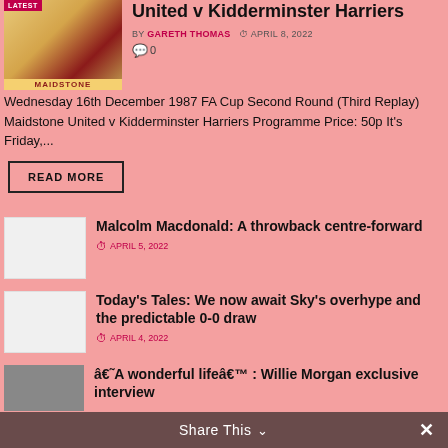[Figure (photo): Magazine cover for Maidstone United vs Kidderminster Harriers football programme with LATEST badge]
United v Kidderminster Harriers
BY GARETH THOMAS  APRIL 8, 2022
0
Wednesday 16th December 1987 FA Cup Second Round (Third Replay) Maidstone United v Kidderminster Harriers Programme Price: 50p It's Friday,...
READ MORE
[Figure (photo): Blank white thumbnail image]
Malcolm Macdonald: A throwback centre-forward
APRIL 5, 2022
[Figure (photo): Blank white thumbnail image]
Today's Tales: We now await Sky's overhype and the predictable 0-0 draw
APRIL 4, 2022
[Figure (photo): Dark partial thumbnail image]
â€˜A wonderful lifeâ€™ : Willie Morgan exclusive interview
Share This